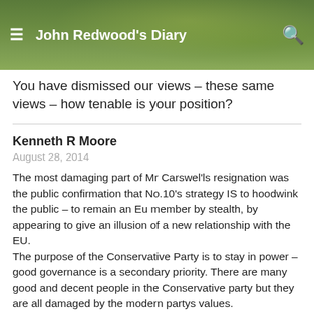John Redwood's Diary
You have dismissed our views – these same views – how tenable is your position?
Kenneth R Moore
August 28, 2014
The most damaging part of Mr Carswel'ls resignation was the public confirmation that No.10's strategy IS to hoodwink the public – to remain an Eu member by stealth, by appearing to give an illusion of a new relationship with the EU. The purpose of the Conservative Party is to stay in power – good governance is a secondary priority. There are many good and decent people in the Conservative party but they are all damaged by the modern partys values.